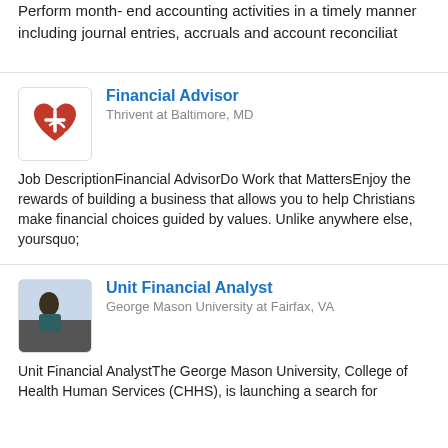Perform month- end accounting activities in a timely manner including journal entries, accruals and account reconciliat
Financial Advisor
Thrivent at Baltimore, MD
Job DescriptionFinancial AdvisorDo Work that MattersEnjoy the rewards of building a business that allows you to help Christians make financial choices guided by values. Unlike anywhere else, yoursquo;
[Figure (logo): Thrivent logo: red heart with cross/arrow symbol]
Unit Financial Analyst
George Mason University at Fairfax, VA
Unit Financial AnalystThe George Mason University, College of Health Human Services (CHHS), is launching a search for
[Figure (photo): Profile photo of a person outdoors]